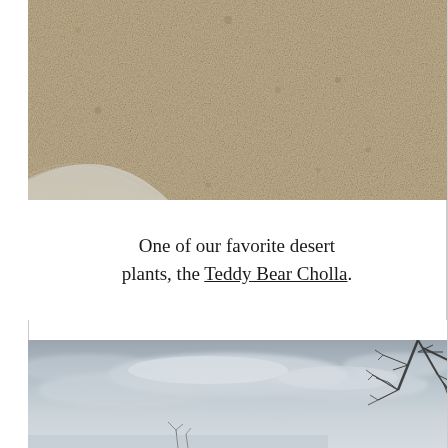[Figure (photo): Close-up photograph of sandy/gravelly desert ground with small rocks and pebbles, warm beige and tan tones, with a smooth concrete or paved edge visible at lower left corner.]
One of our favorite desert plants, the Teddy Bear Cholla.
[Figure (photo): Outdoor photo showing an overcast grey sky with wispy clouds, dark silhouetted leaves of a desert tree (likely a palo verde or similar) visible at the top right corner, and sparse desert vegetation at the bottom.]